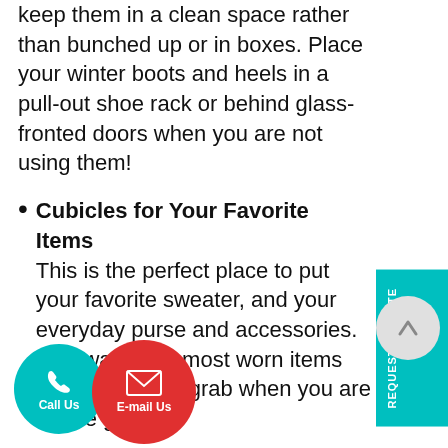keep them in a clean space rather than bunched up or in boxes. Place your winter boots and heels in a pull-out shoe rack or behind glass-fronted doors when you are not using them!
Cubicles for Your Favorite Items
This is the perfect place to put your favorite sweater, and your everyday purse and accessories. This way, your most worn items will be ready to grab when you are on the go.
Flexible Shelving Units
Need hanging space that will fit all your beautiful maxi dresses? The depth and height of all your panels can be easily adaptable to your needs.
Compact Pull-out Ironing Boards
[Figure (other): Teal REQUEST A QUOTE sidebar button on the right]
[Figure (other): Scroll-up arrow circle button]
[Figure (other): Teal Call Us circular button with phone icon]
[Figure (other): Red E-mail Us circular button with envelope icon]